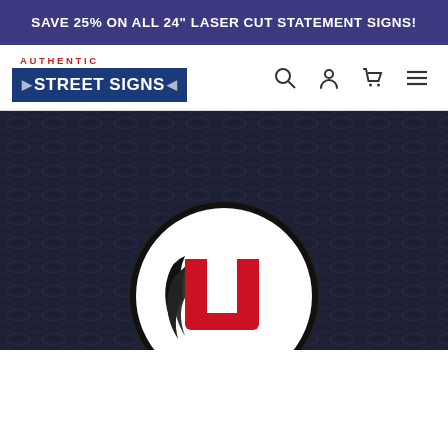SAVE 25% ON ALL 24" LASER CUT STATEMENT SIGNS!
[Figure (logo): Authentic Street Signs logo - blue street sign style badge with AUTHENTIC in red letters above and STREET SIGNS in white on blue rectangle]
[Figure (photo): Dark diamond plate metal texture background with University of Utah Utes drum and feather logo - circular logo with red block U letter and black/white flame design]